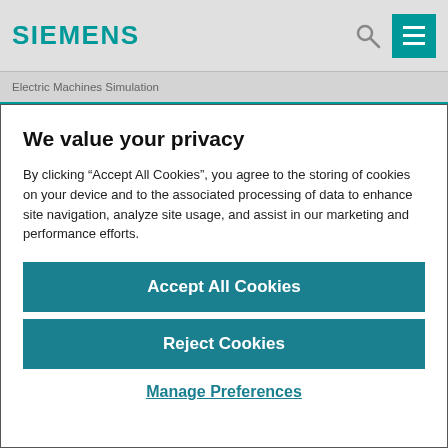SIEMENS
Electric Machines Simulation
We value your privacy
By clicking “Accept All Cookies”, you agree to the storing of cookies on your device and to the associated processing of data to enhance site navigation, analyze site usage, and assist in our marketing and performance efforts.
Accept All Cookies
Reject Cookies
Manage Preferences